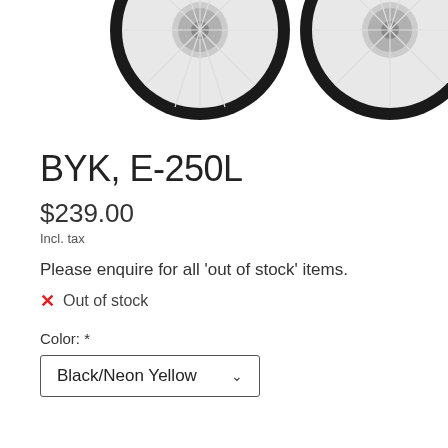[Figure (photo): Partial view of two bicycle wheels (front and rear) showing black tires with white spokes, cropped at the top of the image]
BYK, E-250L
$239.00
Incl. tax
Please enquire for all 'out of stock' items.
✕  Out of stock
Color: *
Black/Neon Yellow